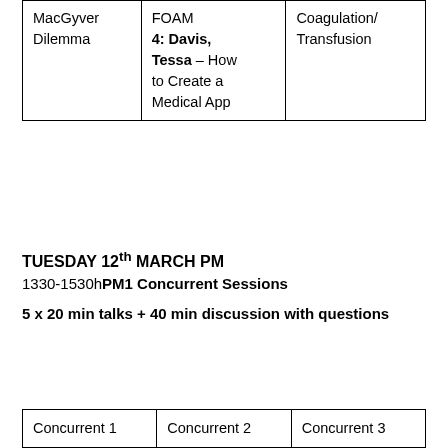| MacGyver Dilemma | FOAM
4: Davis, Tessa – How to Create a Medical App | Coagulation/ Transfusion |
TUESDAY 12th MARCH PM
1330-1530h PM1 Concurrent Sessions
5 x 20 min talks + 40 min discussion with questions
| Concurrent 1 | Concurrent 2 | Concurrent 3 |
| --- | --- | --- |